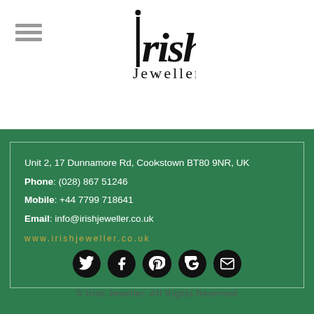[Figure (logo): Irish Jeweller logo with stylized text]
Unit 2, 17 Dunnamore Rd, Cookstown BT80 9NR, UK
Phone: (028) 867 51246
Mobile: +44 7799 718641
Email: info@irishjeweller.co.uk
www.irishjeweller.co.uk
[Figure (infographic): Row of 5 social media circular icons: Twitter, Facebook, Pinterest, Google+, Email]
© Irish Jeweller. All Rights Reserved